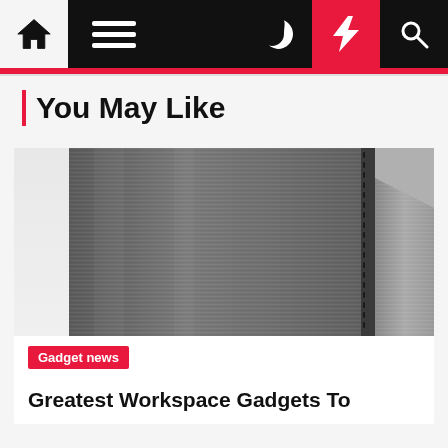Navigation bar with home, menu, dark mode, flash, and search icons
You May Like
[Figure (photo): Close-up photo of a dark metallic/brushed aluminum gadget or device surface with ventilation slots along a seam]
Gadget news
Greatest Workspace Gadgets To